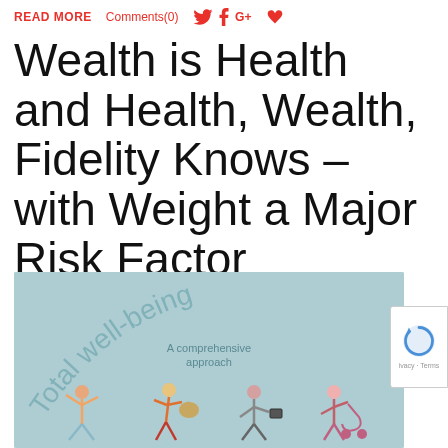READ MORE   Comments(0)
Wealth is Health and Health, Wealth, Fidelity Knows – with Weight a Major Risk Factor
[Figure (illustration): Light blue/teal background illustration showing 'Total well-being' text curved in an arc with subtitle 'A comprehensive approach', and cartoon figures of people exercising and moving at the bottom.]